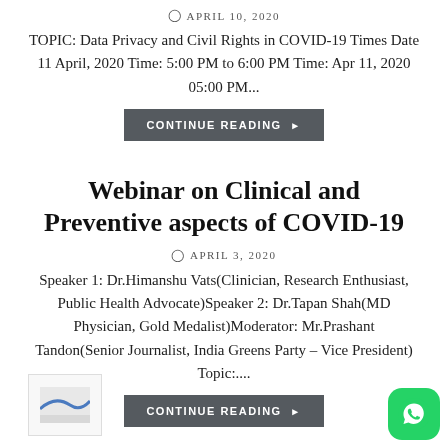APRIL 10, 2020
TOPIC: Data Privacy and Civil Rights in COVID-19 Times Date 11 April, 2020 Time: 5:00 PM to 6:00 PM Time: Apr 11, 2020 05:00 PM...
CONTINUE READING
Webinar on Clinical and Preventive aspects of COVID-19
APRIL 3, 2020
Speaker 1: Dr.Himanshu Vats(Clinician, Research Enthusiast, Public Health Advocate)Speaker 2: Dr.Tapan Shah(MD Physician, Gold Medalist)Moderator: Mr.Prashant Tandon(Senior Journalist, India Greens Party – Vice President) Topic:....
CONTINUE READING
Webinar on Opportunities and